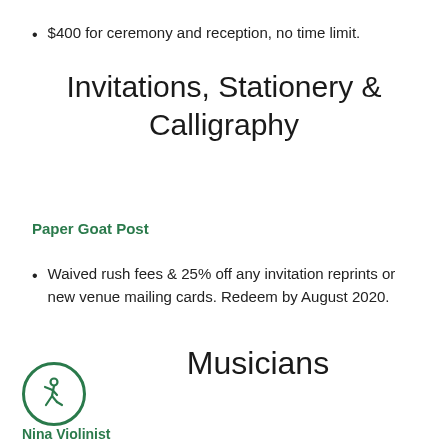$400 for ceremony and reception, no time limit.
Invitations, Stationery & Calligraphy
Paper Goat Post
Waived rush fees & 25% off any invitation reprints or new venue mailing cards. Redeem by August 2020.
Musicians
[Figure (illustration): Green circular accessibility icon with a figure in motion]
Nina Violinist